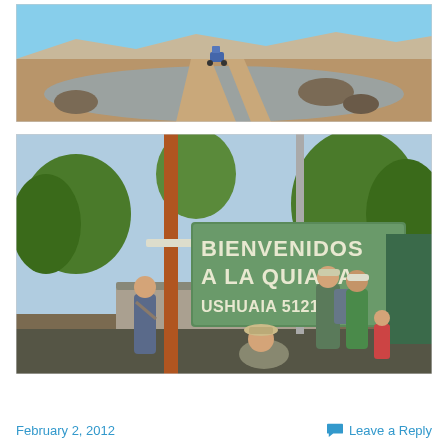[Figure (photo): A motorcycle crossing a shallow river or flooded dirt road in an arid landscape under a blue sky with distant mountains.]
[Figure (photo): A green sign reading 'BIENVENIDOS A LA QUIACA USHUAIA 5121 K' with people standing in front of it, trees and a fence visible in the background.]
February 2, 2012
Leave a Reply